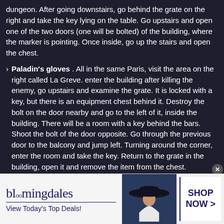dungeon. After going downstairs, go behind the grate on the right and take the key lying on the table. Go upstairs and open one of the two doors (one will be bolted) of the building, where the marker is pointing. Once inside, go up the stairs and open the chest.
› Paladin's gloves . All in the same Paris, visit the area on the right called La Greve. enter the building after killing the enemy, go upstairs and examine the grate. It is locked with a key, but there is an equipment chest behind it. Destroy the bolt on the door nearby and go to the left of it, inside the building. There will be a room with a key behind the bars. Shoot the bolt of the door opposite. Go through the previous door to the balcony and jump left. Turning around the corner, enter the room and take the key. Return to the grate in the building, open it and remove the item from the chest.
› Paladin's helmet . Travel to the Melenois region and
[Figure (other): Bloomingdale's advertisement banner. Shows bloomingdales logo with tagline 'View Today's Top Deals!' on the left, a woman in a wide-brimmed hat in the center, and a 'SHOP NOW >' button on the right.]